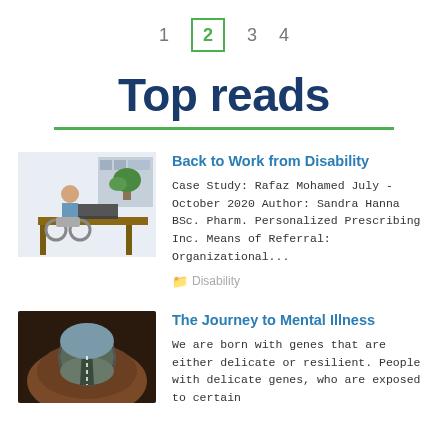1  2  3  4
Top reads
[Figure (photo): Person in a wheelchair working at a desk with a laptop and plants in the background]
Back to Work from Disability
Case Study: Rafaz Mohamed July - October 2020 Author: Sandra Hanna BSc. Pharm. Personalized Prescribing Inc. Means of Referral: Organizational...
Disability
[Figure (photo): Close-up of a hand holding a round mirror reflecting a road landscape]
The Journey to Mental Illness
We are born with genes that are either delicate or resilient. People with delicate genes, who are exposed to certain